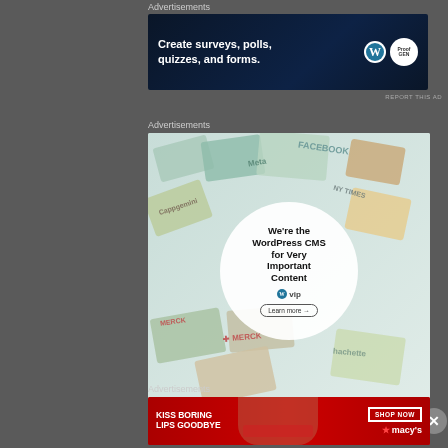Advertisements
[Figure (illustration): Dark navy blue banner ad for WordPress/SurveyMonkey: 'Create surveys, polls, quizzes, and forms.' with WordPress logo and a branded circle logo on the right.]
REPORT THIS AD
Advertisements
[Figure (illustration): WordPress VIP advertisement showing a collage of media brand logos (Meta, Facebook, Merck, Hachette, NY Times) in the background with a white circle in the center containing 'We're the WordPress CMS for Very Important Content' with WP VIP logo and 'Learn more →' button.]
REPORT THIS AD
Advertisements
[Figure (illustration): Macy's advertisement with red background showing a woman's face with red lips. Text reads 'KISS BORING LIPS GOODBYE' on the left and 'SHOP NOW' button with 'macy's' logo on the right.]